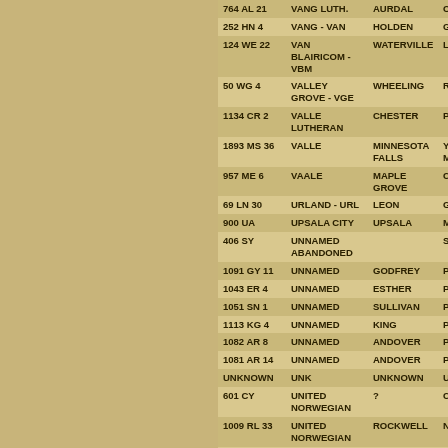| ID | NAME | TOWNSHIP | COUNTY |
| --- | --- | --- | --- |
| 764 AL 21 | VANG LUTH. | AURDAL | OTTER TAIL |
| 252 HN 4 | VANG - VAN | HOLDEN | GOODHUE |
| 124 WE 22 | VAN BLAIRICOM - VBM | WATERVILLE | LE SUEUR |
| 50 WG 4 | VALLEY GROVE - VGE | WHEELING | RICE |
| 1134 CR 2 | VALLE LUTHERAN | CHESTER | POLK |
| 1893 MS 36 | VALLE | MINNESOTA FALLS | YELLOW MEDICINE |
| 957 ME 6 | VAALE | MAPLE GROVE | CROW WING |
| 69 LN 30 | URLAND - URL | LEON | GOODHUE |
| 900 UA | UPSALA CITY | UPSALA | MORRISON |
| 406 SY | UNNAMED ABANDONED |  | SIBLEY |
| 1091 GY 11 | UNNAMED | GODFREY | POLK |
| 1043 ER 4 | UNNAMED | ESTHER | POLK |
| 1051 SN 1 | UNNAMED | SULLIVAN | POLK |
| 1113 KG 4 | UNNAMED | KING | POLK |
| 1082 AR 8 | UNNAMED | ANDOVER | POLK |
| 1081 AR 14 | UNNAMED | ANDOVER | POLK |
| UNKNOWN | UNK | UNKNOWN | UNKNOWN |
| 601 CY | UNITED NORWEGIAN | ? | CLAY |
| 1009 RL 33 | UNITED NORWEGIAN | ROCKWELL | NORMAN |
| 2096 JE 2 | UNITED METHODIST - UMT | JOHNSONVILLE | REDWOOD |
| 1137 CS | UNITED METHODIST | COON RAPIDS | ANOKA |
| 640 DN 18 | UNITED METHODIST | DANIELSON | MEEKER |